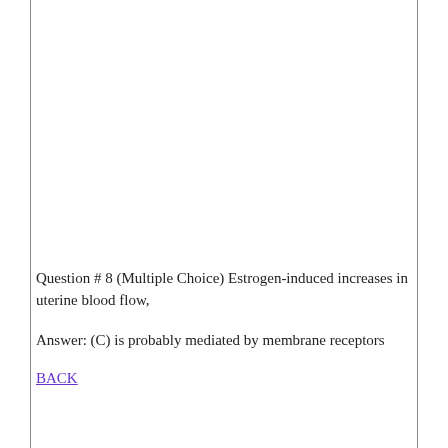Question # 8 (Multiple Choice) Estrogen-induced increases in uterine blood flow,
Answer: (C) is probably mediated by membrane receptors
BACK